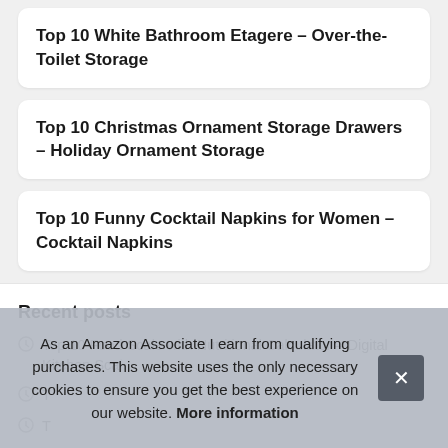Top 10 White Bathroom Etagere – Over-the-Toilet Storage
Top 10 Christmas Ornament Storage Drawers – Holiday Ornament Storage
Top 10 Funny Cocktail Napkins for Women – Cocktail Napkins
Recent posts
Top 10 Food Scale with Nutritional Calculator – Digital Kitchen Sca…
T…
T…
As an Amazon Associate I earn from qualifying purchases. This website uses the only necessary cookies to ensure you get the best experience on our website. More information